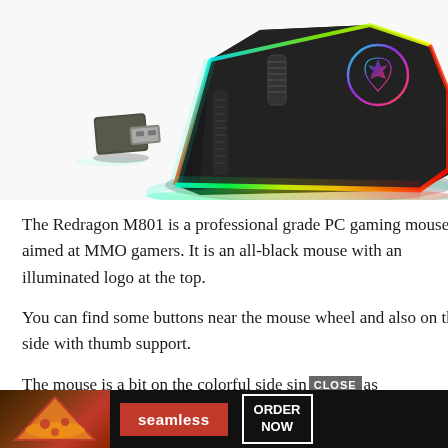[Figure (photo): A black Redragon M801 gaming mouse with RGB lighting along its edges (showing rainbow colors: teal, green, yellow, orange, red) and an illuminated circular dragon logo on top. Next to it is a small USB wireless dongle/receiver.]
The Redragon M801 is a professional grade PC gaming mouse aimed at MMO gamers. It is an all-black mouse with an illuminated logo at the top.
You can find some buttons near the mouse wheel and also on the side with thumb support.
The mouse is a bit on the colorful side sin[CLOSE]as RGB w[seamless][ORDER NOW]rent bright